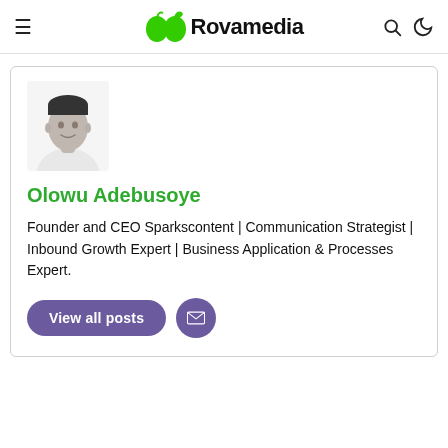Rovamedia
[Figure (photo): Grayscale headshot photo of Olowu Adebusoye, a young man in a light shirt]
Olowu Adebusoye
Founder and CEO Sparkscontent | Communication Strategist | Inbound Growth Expert | Business Application & Processes Expert.
View all posts